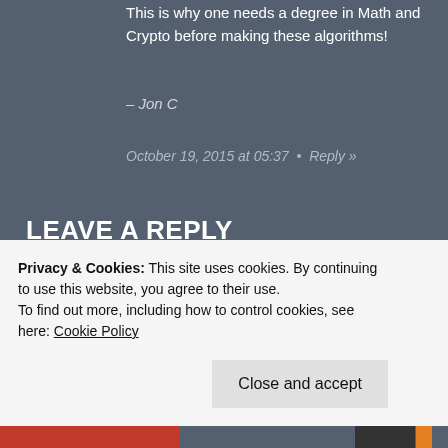This is why one needs a degree in Math and Crypto before making these algorithms!
– Jon C
October 19, 2015 at 05:37  •  Reply »
LEAVE A REPLY
Your email address will not be published. Required fields are marked *
Comment *
Privacy & Cookies: This site uses cookies. By continuing to use this website, you agree to their use.
To find out more, including how to control cookies, see here: Cookie Policy
Close and accept